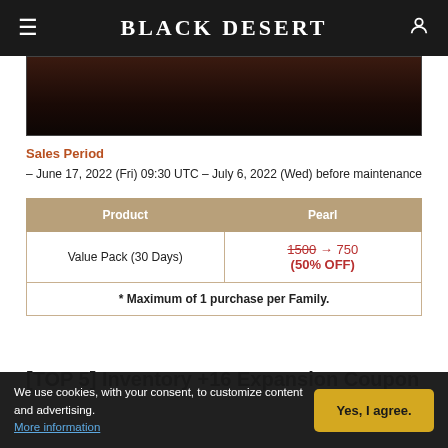Black Desert
[Figure (photo): Dark reddish-brown hero image section, partially visible game artwork with dark gradient]
Sales Period
– June 17, 2022 (Fri) 09:30 UTC – July 6, 2022 (Wed) before maintenance
| Product | Pearl |
| --- | --- |
| Value Pack (30 Days) | 1500 → 750 (50% OFF) |
| * Maximum of 1 purchase per Family. |  |
[TOP 5] Inventory +16 Expansion Coupon
We use cookies, with your consent, to customize content and advertising. More information